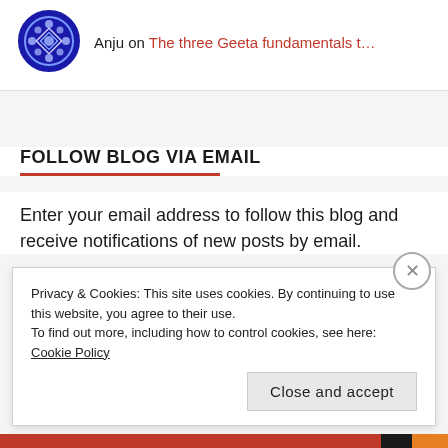Anju on The three Geeta fundamentals t…
FOLLOW BLOG VIA EMAIL
Enter your email address to follow this blog and receive notifications of new posts by email.
Privacy & Cookies: This site uses cookies. By continuing to use this website, you agree to their use. To find out more, including how to control cookies, see here: Cookie Policy